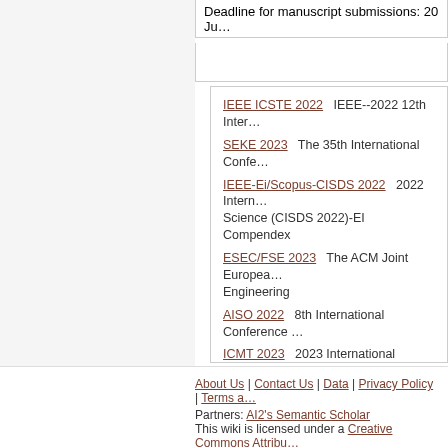Deadline for manuscript submissions: 20 Ju...
IEEE ICSTE 2022   IEEE--2022 12th Inter...
SEKE 2023   The 35th International Confe...
IEEE-Ei/Scopus-CISDS 2022   2022 Intern... Science (CISDS 2022)-EI Compendex
ESEC/FSE 2023   The ACM Joint Europea... Engineering
AISO 2022   8th International Conference...
ICMT 2023   2023 International Conferenc...
IEEE--ISCMI 2022   IEEE--2022 9th Intl. C...
IEEE ICCSN 2023   IEEE--2023 15th Inter...
ACM ICHMI 2023   ACM--2023 3rd Interna...
MLDS 2022   3rd International Conference...
About Us | Contact Us | Data | Privacy Policy | Terms a... Partners: AI2's Semantic Scholar This wiki is licensed under a Creative Commons Attribu...